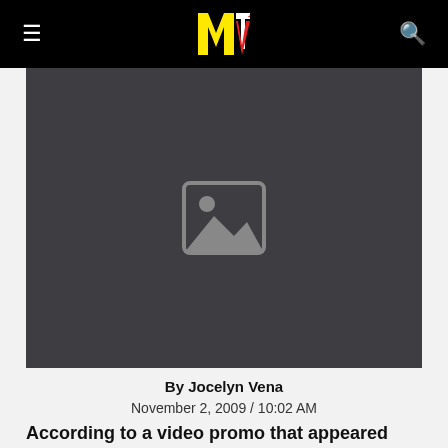MTV
[Figure (photo): Dark gray image placeholder with a landscape/image icon in the center]
By Jocelyn Vena
November 2, 2009 / 10:02 AM
According to a video promo that appeared online over